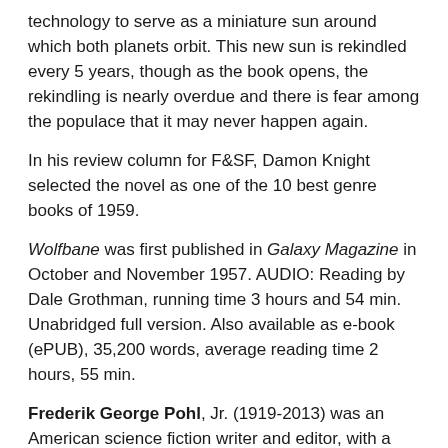technology to serve as a miniature sun around which both planets orbit. This new sun is rekindled every 5 years, though as the book opens, the rekindling is nearly overdue and there is fear among the populace that it may never happen again.
In his review column for F&SF, Damon Knight selected the novel as one of the 10 best genre books of 1959.
Wolfbane was first published in Galaxy Magazine in October and November 1957. AUDIO: Reading by Dale Grothman, running time 3 hours and 54 min. Unabridged full version. Also available as e-book (ePUB), 35,200 words, average reading time 2 hours, 55 min.
Frederik George Pohl, Jr. (1919-2013) was an American science fiction writer and editor, with a career spanning more than seventy-five years. From about 1959 until 1969, Pohl edited Galaxy and its sister magazine If; the latter won three successive annual Hugo Awards as the year's best professional magazine. He won four Hugo and three Nebula Awards. The Science Fiction Writers of America named Pohl its 12th recipient of the Damon Knight Memorial Grand Master Award in 1993